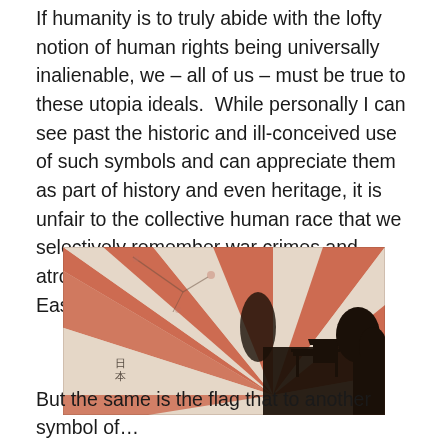If humanity is to truly abide with the lofty notion of human rights being universally inalienable, we – all of us – must be true to these utopia ideals.  While personally I can see past the historic and ill-conceived use of such symbols and can appreciate them as part of history and even heritage, it is unfair to the collective human race that we selectively remember war crimes and atrocities in an unbalanced West versus East fashion.
[Figure (illustration): A stylized Japanese rising sun image with red and cream radiating rays, silhouetted temple/torii gate and trees in the foreground, with Japanese characters and bamboo motifs. Aged/distressed aesthetic.]
But the same is the flag that to another symbol of...